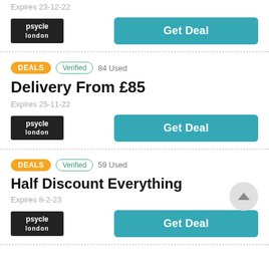Expires 23-12-22
[Figure (logo): Psycle London logo in black box]
Get Deal
DEALS   Verified   84 Used
Delivery From £85
Expires 25-11-22
[Figure (logo): Psycle London logo in black box]
Get Deal
DEALS   Verified   59 Used
Half Discount Everything
Expires 8-2-23
[Figure (logo): Psycle London logo in black box]
Get Deal